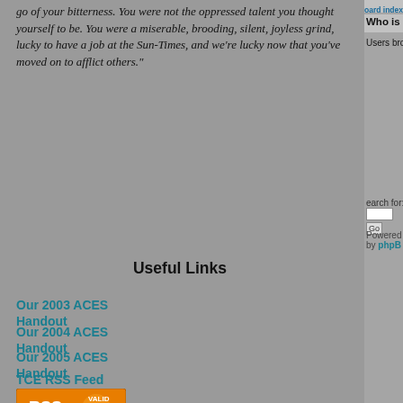go of your bitterness. You were not the oppressed talent you thought yourself to be. You were a miserable, brooding, silent, joyless grind, lucky to have a job at the Sun-Times, and we're lucky now that you've moved on to afflict others."
Useful Links
Our 2003 ACES Handout
Our 2004 ACES Handout
Our 2005 ACES Handout
Our 2006 ACES Handout
Our 2009 ACES Handout
The Slot (Bill Walsh)
HeadsUp: The Blog
John McIntyre
Regret the Error
Banned for Life
TCE RSS Feed
[Figure (logo): RSS Valid badge - orange background with RSS text and checkmark]
Board index » Off Topic » Difficult to Categorize
Who is online
Users browsing this forum: No registered users and 4
Search for: [input box] Go
Powered by phpB